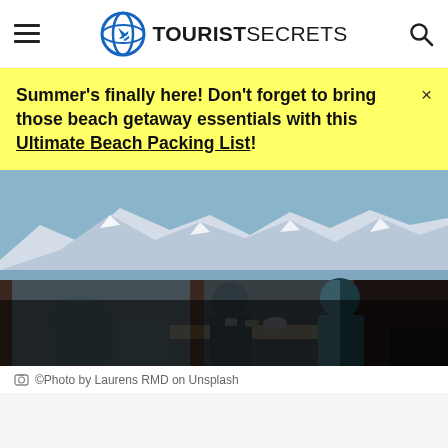TOURIST SECRETS
Summer's finally here! Don't forget to bring those beach getaway essentials with this Ultimate Beach Packing List!
[Figure (photo): Two people sitting at a table inside a café or lodge, silhouetted against large windows with a scenic view of a lake and snow-capped mountains in the background.]
©Photo by Laurens RMD on Unsplash